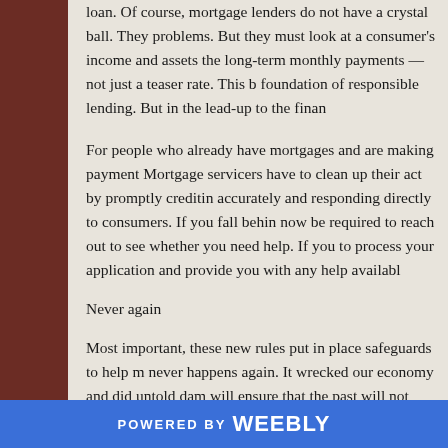loan. Of course, mortgage lenders do not have a crystal ball. They problems. But they must look at a consumer's income and assets the long-term monthly payments — not just a teaser rate. This b foundation of responsible lending. But in the lead-up to the finan
For people who already have mortgages and are making payment Mortgage servicers have to clean up their act by promptly creditin accurately and responding directly to consumers. If you fall behin now be required to reach out to see whether you need help. If you to process your application and provide you with any help availabl
Never again
Most important, these new rules put in place safeguards to help n never happens again. It wrecked our economy and did untold dam will ensure that the past will not repeat itself.
POWERED BY weebly